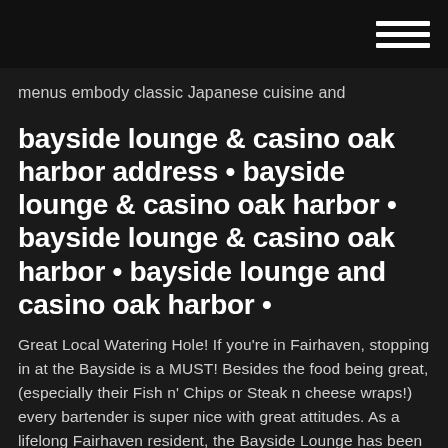menus embody classic Japanese cuisine and
bayside lounge & casino oak harbor address • bayside lounge & casino oak harbor • bayside lounge & casino oak harbor • bayside lounge and casino oak harbor •
Great Local Watering Hole! If you're in Fairhaven, stopping in at the Bayside is a MUST! Besides the food being great, (especially their Fish n' Chips or Steak n cheese wraps!) every bartender is super nice with great attitudes. As a lifelong Fairhaven resident, the Bayside Lounge has been